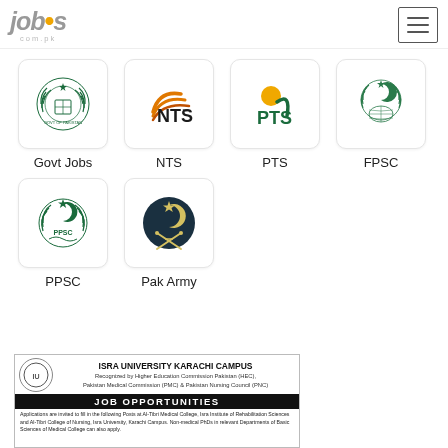[Figure (logo): jobs.com.pk website logo in grey italic style]
[Figure (screenshot): Hamburger menu icon button]
Govt Jobs
NTS
PTS
FPSC
PPSC
Pak Army
[Figure (infographic): ISRA UNIVERSITY KARACHI CAMPUS advertisement banner with logo, text: Recognized by Higher Education Commission Pakistan (HEC), Pakistan Medical Commission (PMC) & Pakistan Nursing Council (PNC). JOB OPPORTUNITIES. Applications are invited to fill in the following Posts at Al-Tibri Medical College, Isra Institute of Rehabilitation Sciences and Al-Tibri College of Nursing, Isra University, Karachi Campus. Non-medical PhDs in relevant Departments of Basic Sciences of Medical College can also apply.]